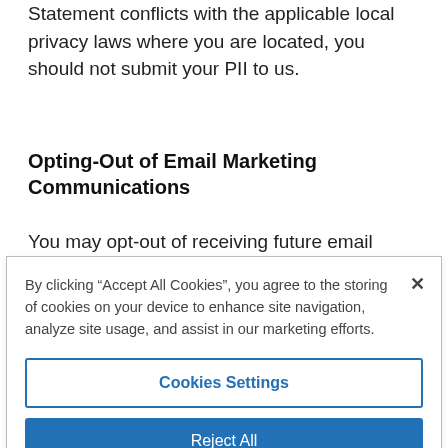Statement conflicts with the applicable local privacy laws where you are located, you should not submit your PII to us.
Opting-Out of Email Marketing Communications
You may opt-out of receiving future email marketing messages and email newsletters from Healthy Fidelity at
By clicking “Accept All Cookies”, you agree to the storing of cookies on your device to enhance site navigation, analyze site usage, and assist in our marketing efforts.
Cookies Settings
Reject All
Accept All Cookies